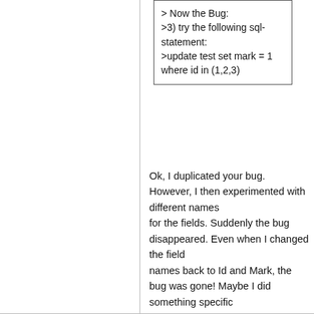> Now the Bug:
>3) try the following sql-statement:
>update test set mark = 1 where id in (1,2,3)
Ok, I duplicated your bug. However, I then experimented with different names for the fields. Suddenly the bug disappeared. Even when I changed the field names back to Id and Mark, the bug was gone! Maybe I did something specific that caused the bug to appear the first time that I haven't duplicated since? Very strange!